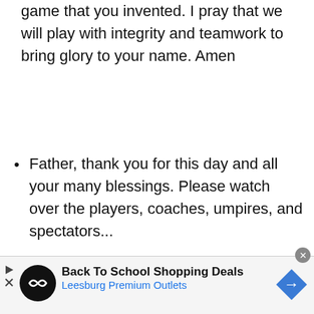game that you invented. I pray that we will play with integrity and teamwork to bring glory to your name. Amen
Father, thank you for this day and all your many blessings. Please watch over the players, coaches, umpires, and spectators...
[Figure (infographic): Advertisement banner: Back To School Shopping Deals - Leesburg Premium Outlets, with logo and navigation arrow icon]